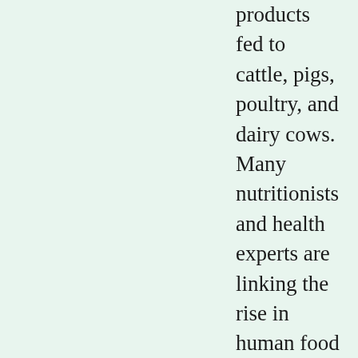products fed to cattle, pigs, poultry, and dairy cows.
Many nutritionists and health experts are linking the rise in human food allergies---skin problems and inflammatory/irritable bowel syndromes--- to the increased consumption of GM foods and food additives, especially genetically engineered soy products that contain novel proteins. The high incidence of skin and food allergies, and other suspected